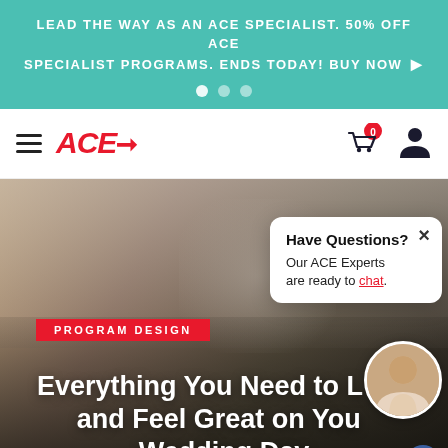LEAD THE WAY AS AN ACE SPECIALIST. 50% OFF ACE SPECIALIST PROGRAMS. ENDS TODAY! BUY NOW ▶
[Figure (screenshot): ACE logo and navigation bar with hamburger menu, cart icon with badge showing 0, and user icon]
[Figure (photo): Woman smiling and lifting a dumbbell in a wedding setting with overlay text]
PROGRAM DESIGN
Everything You Need to Look and Feel Great on Your Wedding Day
[Figure (infographic): Chat popup bubble: Have Questions? Our ACE Experts are ready to chat. With close X button and advisor avatar photo.]